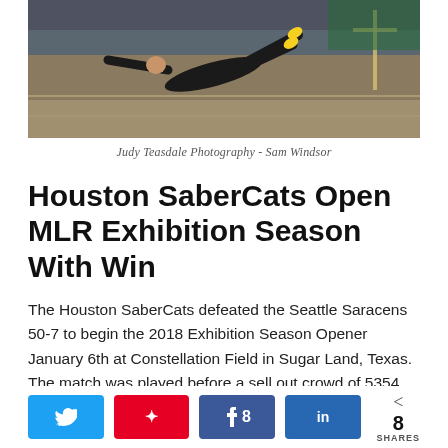[Figure (photo): Rugby player in black uniform diving/sliding on the field, action shot during a match.]
Judy Teasdale Photography - Sam Windsor
Houston SaberCats Open MLR Exhibition Season With Win
The Houston SaberCats defeated the Seattle Saracens 50-7 to begin the 2018 Exhibition Season Opener January 6th at Constellation Field in Sugar Land, Texas. The match was played before a sell out crowd of 5354 fans.
The SaberCats entered the match after going
[Figure (other): Social share bar with Twitter, Pinterest, Facebook (8 shares), LinkedIn buttons and total share count of 8 SHARES]